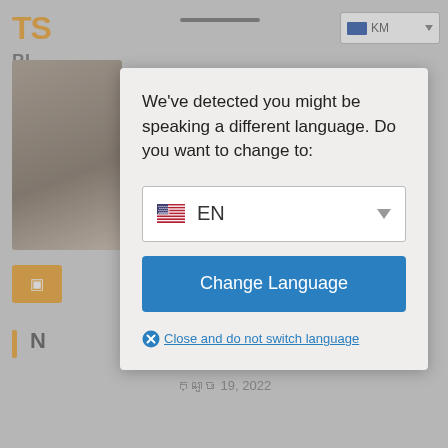[Figure (screenshot): Background website page with TS PLUS logo, navigation bar, left image strip, orange button, and placeholder Khmer text content]
We've detected you might be speaking a different language. Do you want to change to:
EN
Change Language
Close and do not switch language